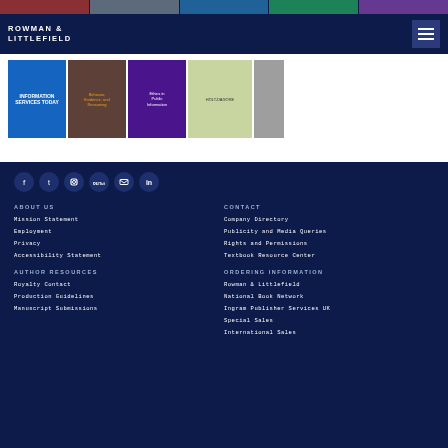[Figure (screenshot): Rowman & Littlefield publisher website screenshot showing navigation bar with logo, book covers strip, social media icons, and footer navigation links]
ROWMAN & LITTLEFIELD
ABOUT US
Mission Statement
Employment
Privacy
Accessibility Statement
CONTACT
Company Directory
Publicity and Media Queries
Rights and Permissions
Textbook Resource Center
AUTHOR RESOURCES
Royalty Contact
Production Guidelines
Manuscript Submissions
ORDERING INFORMATION
Rowman & Littlefield
National Book Network
Ingram Publisher Services UK
Special Sales
International Sales